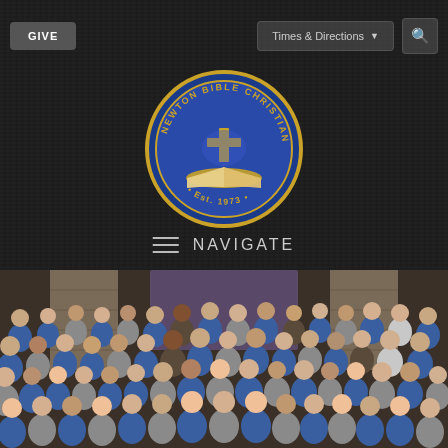GIVE | Times & Directions | Search
[Figure (logo): Newton Bible Christian School circular seal/logo with a cross over an open Bible, gold and blue colors, text reading NEWTON BIBLE CHRISTIAN SCHOOL around the border, Est. 1973]
NAVIGATE
[Figure (photo): Group photo of Newton Bible Christian School students and staff in a large indoor room with stone fireplace and stage backdrop. Students wearing blue and grey uniforms arranged in multiple rows.]